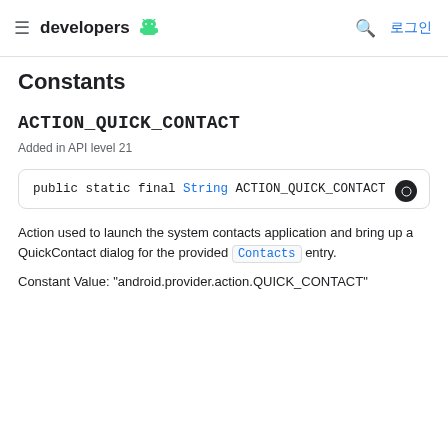≡ developers [android logo]  🔍  로그인
Constants
ACTION_QUICK_CONTACT
Added in API level 21
public static final String ACTION_QUICK_CONTACT
Action used to launch the system contacts application and bring up a QuickContact dialog for the provided Contacts entry.
Constant Value: "android.provider.action.QUICK_CONTACT"